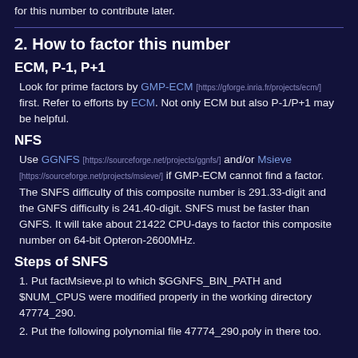for this number to contribute later.
2. How to factor this number
ECM, P-1, P+1
Look for prime factors by GMP-ECM [https://gforge.inria.fr/projects/ecm/] first. Refer to efforts by ECM. Not only ECM but also P-1/P+1 may be helpful.
NFS
Use GGNFS [https://sourceforge.net/projects/ggnfs/] and/or Msieve [https://sourceforge.net/projects/msieve/] if GMP-ECM cannot find a factor. The SNFS difficulty of this composite number is 291.33-digit and the GNFS difficulty is 241.40-digit. SNFS must be faster than GNFS. It will take about 21422 CPU-days to factor this composite number on 64-bit Opteron-2600MHz.
Steps of SNFS
1. Put factMsieve.pl to which $GGNFS_BIN_PATH and $NUM_CPUS were modified properly in the working directory 47774_290.
2. Put the following polynomial file 47774_290.poly in there too.